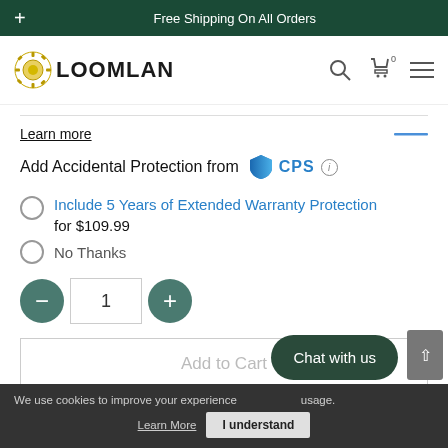+ Free Shipping On All Orders
[Figure (logo): LOOMLAN logo with gear icon, plus search, cart, and menu nav icons]
Learn more
Add Accidental Protection from CPS
Include 5 Years of Extended Warranty Protection for $109.99
No Thanks
1 (quantity input with minus and plus buttons)
Add to Cart
We use cookies to improve your experience usage. Learn More  I understand
Chat with us